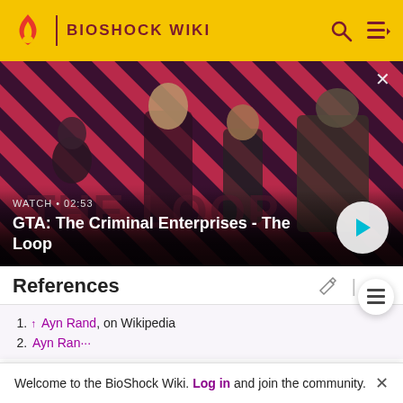BIOSHOCK WIKI
[Figure (screenshot): GTA: The Criminal Enterprises - The Loop video thumbnail showing characters on a diagonal red/dark striped background with a play button]
WATCH • 02:53
GTA: The Criminal Enterprises - The Loop
References
1. ↑ Ayn Rand, on Wikipedia
Welcome to the BioShock Wiki. Log in and join the community.